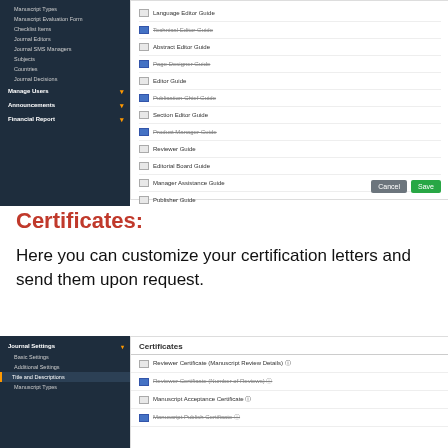[Figure (screenshot): A UI screenshot showing a journal settings sidebar with dark navy background listing items like Manuscript Types, Manuscript Evaluation Form, Checklist Items, Journal Editors, Journal SMS Managers, Subjects, Countries, Journal Decisions, Manage Users, Announcements, Financial Report. The main panel shows a list of guide documents: Language Editor Guide, Technical Editor Guide (strikethrough), Abstract Editor Guide, Page Designer Guide (strikethrough), Editor Guide, Publication-Chief Guide (strikethrough), Section Editor Guide, Product Manager Guide (strikethrough), Reviewer Guide, Editorial Board Guide, Manager Assistance Guide, Publisher Guide. Cancel and Save buttons appear at bottom right.]
Certificates:
Here you can customize your certification letters and send them upon request.
[Figure (screenshot): A UI screenshot showing journal settings sidebar with items Basic Settings, Additional Settings, Title and Descriptions (highlighted), Manuscript Types. The main panel shows a Certificates section with items: Reviewer Certificate (Manuscript Review Details), Reviewer Certificate (Number of Reviews), Manuscript Acceptance Certificate, Manuscript Publish Certificate.]